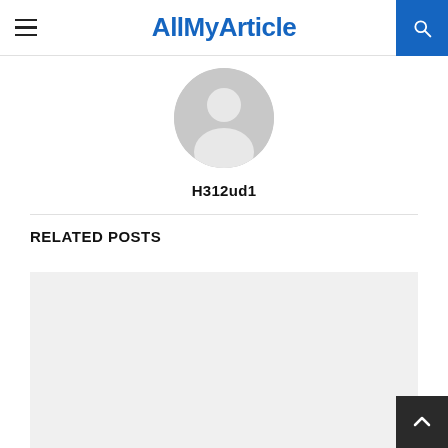AllMyArticle
[Figure (illustration): Circular grey default user avatar icon with silhouette of a person]
H312ud1
RELATED POSTS
[Figure (photo): Light grey placeholder image for a related post thumbnail]